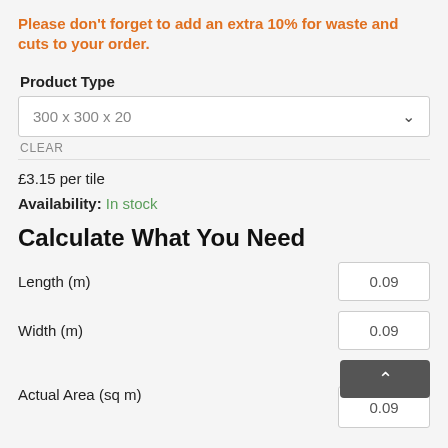Please don't forget to add an extra 10% for waste and cuts to your order.
Product Type
300 x 300 x 20
CLEAR
£3.15 per tile
Availability: In stock
Calculate What You Need
Length (m)
0.09
Width (m)
0.09
Actual Area (sq m)
0.09